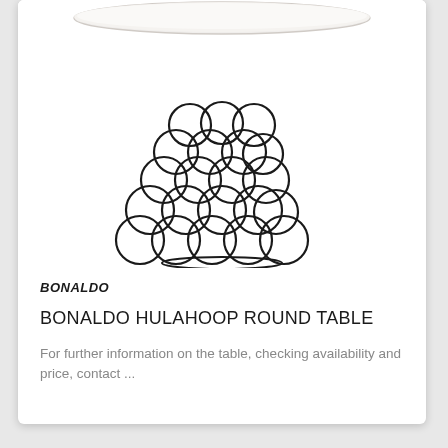[Figure (photo): Product photo of Bonaldo Hulahoop Round Table showing a white round tabletop supported by an ornate base made of interlocking metal rings/circles arranged in a cone/drum shape, in dark/black metal finish]
BONALDO
BONALDO HULAHOOP ROUND TABLE
For further information on the table, checking availability and price, contact ...